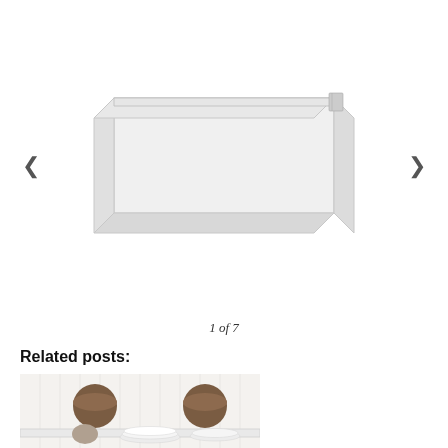[Figure (photo): White rectangular storage box with open top, viewed at slight angle, on white background. Navigation arrows (< and >) on either side.]
1 of 7
Related posts:
[Figure (photo): Kitchen shelving photo showing white open shelves mounted on white beadboard wall, with stacked white dishes, bowls, and dark ceramic containers. A small framed print leans against the shelf.]
Tonka Town Treasure Kitchen Reveal